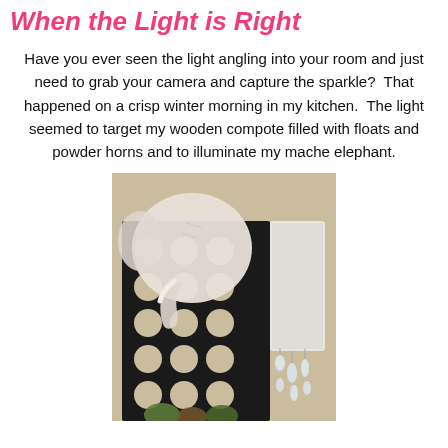When the Light is Right
Have you ever seen the light angling into your room and just need to grab your camera and capture the sparkle?  That happened on a crisp winter morning in my kitchen.  The light seemed to target my wooden compote filled with floats and powder horns and to illuminate my mache elephant.
[Figure (photo): A white papier-mache elephant head mounted on a wall with a black quatrefoil trellis panel behind it. On the right side, crystal chandelier drops are visible. At the bottom, some fruit or decorative items are partially visible.]